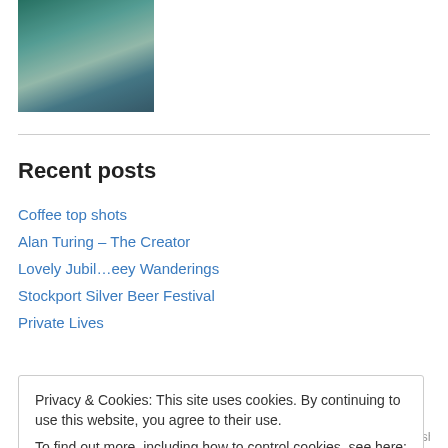[Figure (photo): A photo with teal/green tones showing a person or figure with blurred background, top portion of a blog post image]
Recent posts
Coffee top shots
Alan Turing – The Creator
Lovely Jubil…eey Wanderings
Stockport Silver Beer Festival
Private Lives
Privacy & Cookies: This site uses cookies. By continuing to use this website, you agree to their use.
To find out more, including how to control cookies, see here: Cookie Policy
Cornerhouse Creation Darwin Demon Lamp Didsbury writers group Dishwasher